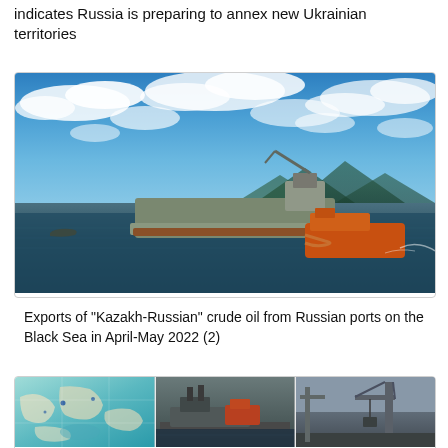indicates Russia is preparing to annex new Ukrainian territories
[Figure (photo): An oil tanker ship at sea with a smaller orange vessel alongside it, blue sky with white clouds above, mountains visible in background on the Black Sea]
Exports of "Kazakh-Russian" crude oil from Russian ports on the Black Sea in April-May 2022 (2)
[Figure (photo): Three-panel image: left panel shows a map of the Black Sea region, middle panel shows industrial port equipment, right panel shows a crane at a port facility]